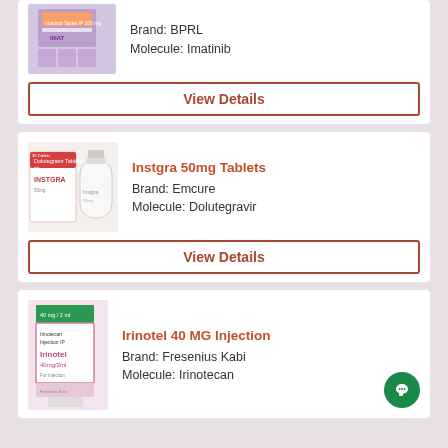[Figure (photo): Imatinib 100mg tablet product packaging photo (partial view at top)]
Brand: BPRL
Molecule: Imatinib
View Details
Instgra 50mg Tablets
[Figure (photo): Instgra 50mg Tablets product packaging showing box and bottle]
Brand: Emcure
Molecule: Dolutegravir
View Details
Irinotel 40 MG Injection
[Figure (photo): Irinotel 40 MG Injection product packaging - pink and green box]
Brand: Fresenius Kabi
Molecule: Irinotecan